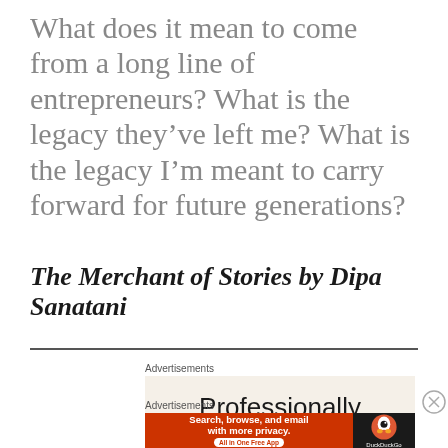What does it mean to come from a long line of entrepreneurs? What is the legacy they've left me? What is the legacy I'm meant to carry forward for future generations?
The Merchant of Stories by Dipa Sanatani
Advertisements
[Figure (other): Advertisement banner with text 'Professionally' on a cream/beige background]
Advertisements
[Figure (other): DuckDuckGo advertisement banner with orange background: 'Search, browse, and email with more privacy. All in One Free App' with DuckDuckGo logo on dark right panel]